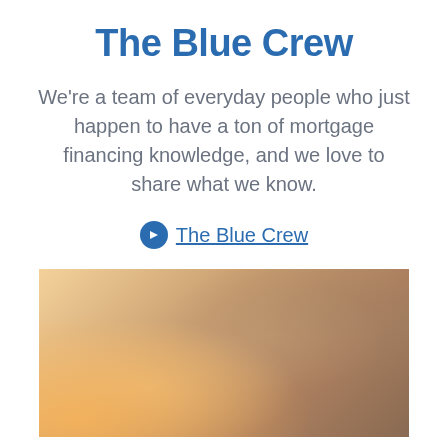The Blue Crew
We’re a team of everyday people who just happen to have a ton of mortgage financing knowledge, and we love to share what we know.
➡ The Blue Crew
[Figure (photo): Woman with blonde hair wearing glasses, talking on phone and holding a mug, in a warmly lit indoor setting.]